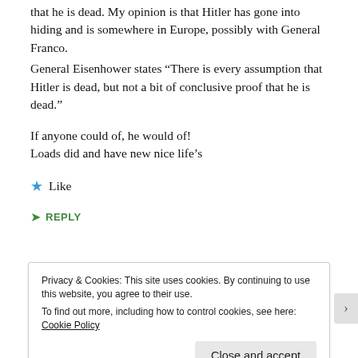that he is dead. My opinion is that Hitler has gone into hiding and is somewhere in Europe, possibly with General Franco.
General Eisenhower states “There is every assumption that Hitler is dead, but not a bit of conclusive proof that he is dead.”
If anyone could of, he would of!
Loads did and have new nice life’s
★ Like
➤ REPLY
Privacy & Cookies: This site uses cookies. By continuing to use this website, you agree to their use.
To find out more, including how to control cookies, see here: Cookie Policy
Close and accept